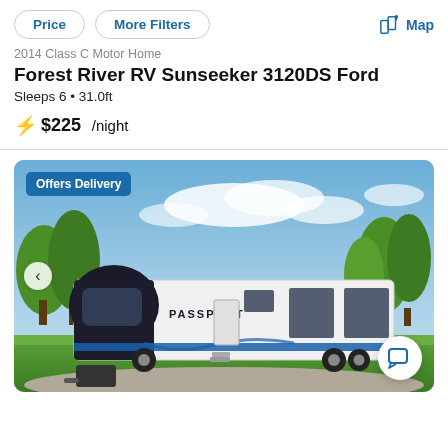Price | More Filters | Map
2014 Class C Motor Home
Forest River RV Sunseeker 3120DS Ford
Sleeps 6 • 31.0ft
⚡ $225 /night
[Figure (photo): Travel trailer RV labeled PASSPORT parked outdoors with trees and blue sky in background. Blue 'Offers Delivery' badge in top-left corner. Left navigation arrow visible. Chat button in bottom-right corner.]